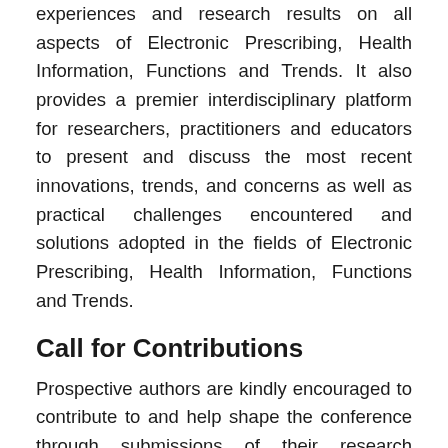experiences and research results on all aspects of Electronic Prescribing, Health Information, Functions and Trends. It also provides a premier interdisciplinary platform for researchers, practitioners and educators to present and discuss the most recent innovations, trends, and concerns as well as practical challenges encountered and solutions adopted in the fields of Electronic Prescribing, Health Information, Functions and Trends.
Call for Contributions
Prospective authors are kindly encouraged to contribute to and help shape the conference through submissions of their research abstracts, papers and e-posters. Also, high quality research contributions describing original and unpublished results of conceptual, constructive, empirical, experimental, or theoretical work in all areas of Electronic Prescribing,